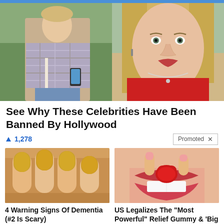[Figure (photo): Two-panel celebrity photo: left panel shows a woman in a plaid sweater holding a phone and bag outdoors; right panel shows a blonde woman in a red top with a silver necklace.]
See Why These Celebrities Have Been Banned By Hollywood
▲ 1,278
Promoted ×
[Figure (photo): Close-up photo of yellowed fingernails on a hand.]
[Figure (photo): Close-up photo of a woman eating a red gummy candy.]
4 Warning Signs Of Dementia (#2 Is Scary)
🔥 9,625
US Legalizes The "Most Powerful" Relief Gummy & 'Big Pharma' Is Furious